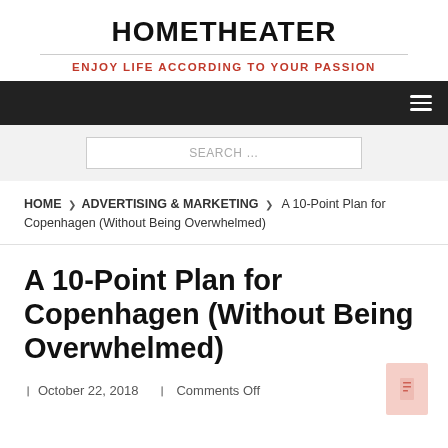HOMETHEATER
ENJOY LIFE ACCORDING TO YOUR PASSION
SEARCH …
HOME › ADVERTISING & MARKETING › A 10-Point Plan for Copenhagen (Without Being Overwhelmed)
A 10-Point Plan for Copenhagen (Without Being Overwhelmed)
October 22, 2018   Comments Off